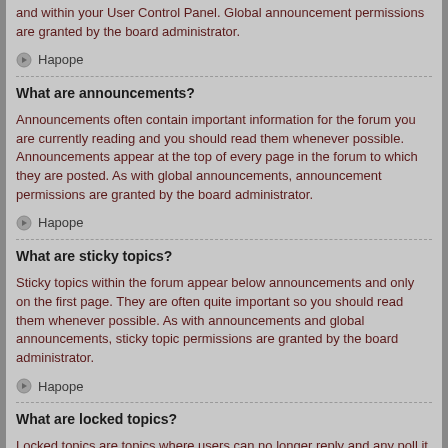and within your User Control Panel. Global announcement permissions are granted by the board administrator.
Наrope
What are announcements?
Announcements often contain important information for the forum you are currently reading and you should read them whenever possible. Announcements appear at the top of every page in the forum to which they are posted. As with global announcements, announcement permissions are granted by the board administrator.
Наrope
What are sticky topics?
Sticky topics within the forum appear below announcements and only on the first page. They are often quite important so you should read them whenever possible. As with announcements and global announcements, sticky topic permissions are granted by the board administrator.
Наrope
What are locked topics?
Locked topics are topics where users can no longer reply and any poll it